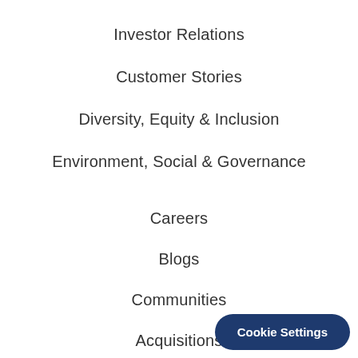Investor Relations
Customer Stories
Diversity, Equity & Inclusion
Environment, Social & Governance
Careers
Blogs
Communities
Acquisitions
Office Locations
VMware Cloud Tr…
Cookie Settings